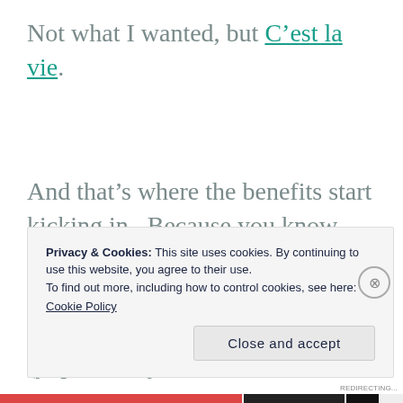Not what I wanted, but C’est la vie.
And that’s where the benefits start kicking in.  Because you know what?  People WANT to help people who make them feel good.  Because that ALSO feels good (yup, already
Privacy & Cookies: This site uses cookies. By continuing to use this website, you agree to their use.
To find out more, including how to control cookies, see here:
Cookie Policy